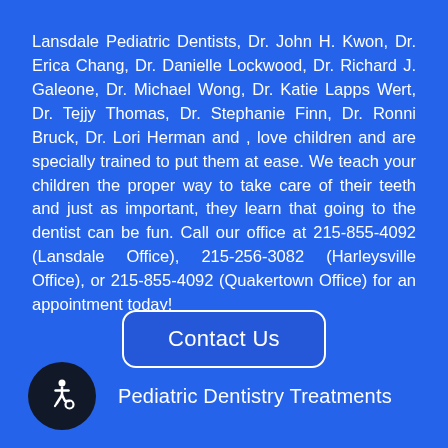Lansdale Pediatric Dentists, Dr. John H. Kwon, Dr. Erica Chang, Dr. Danielle Lockwood, Dr. Richard J. Galeone, Dr. Michael Wong, Dr. Katie Lapps Wert, Dr. Tejjy Thomas, Dr. Stephanie Finn, Dr. Ronni Bruck, Dr. Lori Herman and , love children and are specially trained to put them at ease. We teach your children the proper way to take care of their teeth and just as important, they learn that going to the dentist can be fun. Call our office at 215-855-4092 (Lansdale Office), 215-256-3082 (Harleysville Office), or 215-855-4092 (Quakertown Office) for an appointment today!
[Figure (other): Contact Us button — rounded rectangle with white border on blue background]
[Figure (other): Accessibility icon — wheelchair symbol in white on dark circular background]
Pediatric Dentistry Treatments